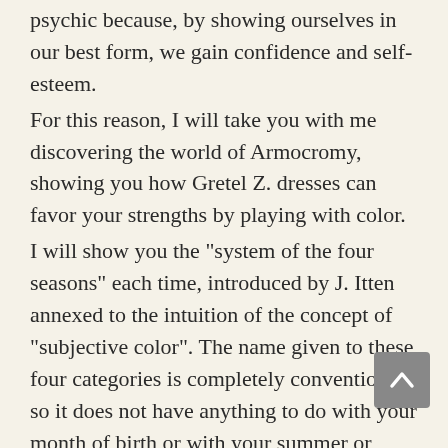psychic because, by showing ourselves in our best form, we gain confidence and self- esteem.
For this reason, I will take you with me discovering the world of Armocromy, showing you how Gretel Z. dresses can favor your strengths by playing with color.
I will show you the "system of the four seasons" each time, introduced by J. Itten annexed to the intuition of the concept of "subjective color". The name given to these four categories is completely conventional, so it does not have anything to do with your month of birth or with your summer or winter wardrobe: rather they are inspired by the colors of nature in the four phases of the solar year.